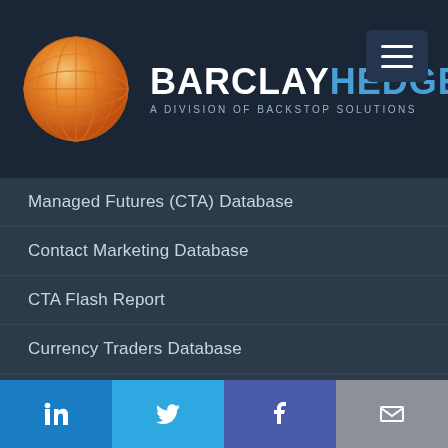BARCLAYHEDGE — A DIVISION OF BACKSTOP SOLUTIONS
Managed Futures (CTA) Database
Contact Marketing Database
CTA Flash Report
Currency Traders Database
Solutions
Custom Indices
FundFinder
Fund Flow Indicator
Peer Group Comparisons
Performance Rankings
LinkedIn | Twitter | Facebook | Email